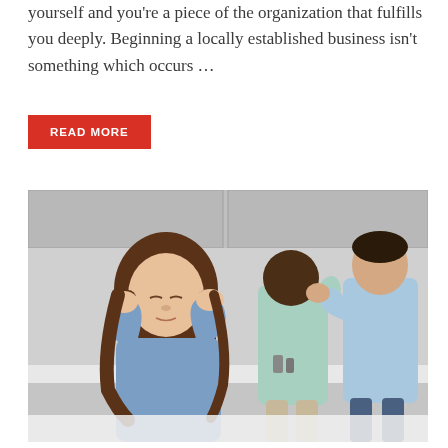yourself and you're a piece of the organization that fulfills you deeply. Beginning a locally established business isn't something which occurs ...
READ MORE
[Figure (photo): A young girl covering her ears with her hands, eyes closed, standing in front of a kitchen counter. In the background, a woman and a man appear to be arguing.]